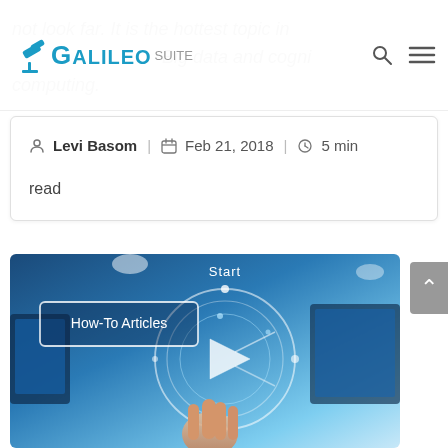Galileo Suite — header with logo, search icon, menu icon
not look far. It is the hottest topic in... Big data and cognitive computing.
Levi Basom | Feb 21, 2018 | 5 min read
[Figure (photo): Technology image showing a hand pointing at a holographic circular interface with a play button in the center. A 'How-To Articles' label box is in the upper left, and 'Start' text at the top center. Background shows a high-tech room with screens.]